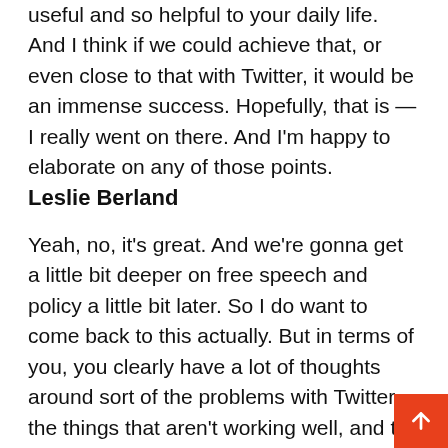useful and so helpful to your daily life. And I think if we could achieve that, or even close to that with Twitter, it would be an immense success. Hopefully, that is — I really went on there. And I'm happy to elaborate on any of those points.
Leslie Berland
Yeah, no, it's great. And we're gonna get a little bit deeper on free speech and policy a little bit later. So I do want to come back to this actually. But in terms of you, you clearly have a lot of thoughts around sort of the problems with Twitter, the things that aren't working well, and the barriers to what's possible. How do you see your buying the company? Did that sort of feed your desire to